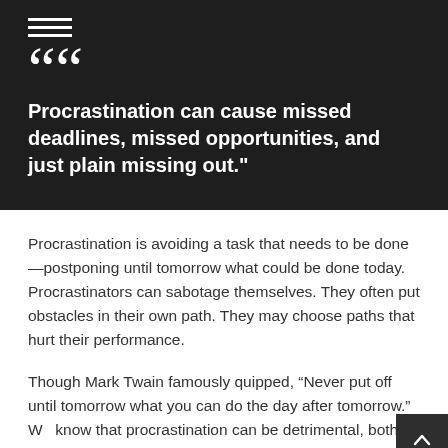[Figure (other): Hamburger menu icon with three horizontal white lines on dark background]
““
Procrastination can cause missed deadlines, missed opportunities, and just plain missing out."
Procrastination is avoiding a task that needs to be done—postponing until tomorrow what could be done today. Procrastinators can sabotage themselves. They often put obstacles in their own path. They may choose paths that hurt their performance.
Though Mark Twain famously quipped, “Never put off until tomorrow what you can do the day after tomorrow.” We know that procrastination can be detrimental, both in our personal and professional lives. Problems with